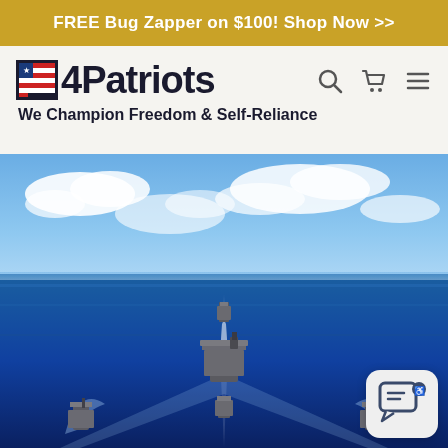FREE Bug Zapper on $100! Shop Now >>
[Figure (logo): 4Patriots logo with American flag icon and bold text '4Patriots']
We Champion Freedom & Self-Reliance
[Figure (photo): Aerial photograph of a US Navy carrier strike group sailing in formation on deep blue ocean water with white wake trails visible, partly cloudy sky above.]